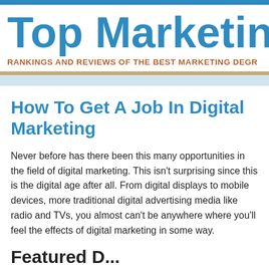Top Marketing
RANKINGS AND REVIEWS OF THE BEST MARKETING DEGR
How To Get A Job In Digital Marketing
Never before has there been this many opportunities in the field of digital marketing. This isn't surprising since this is the digital age after all. From digital displays to mobile devices, more traditional digital advertising media like radio and TVs, you almost can't be anywhere where you'll feel the effects of digital marketing in some way.
Featured D...